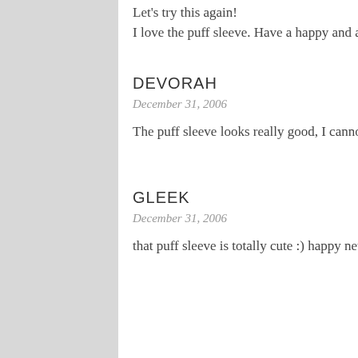Let's try this again!
I love the puff sleeve. Have a happy and a healthy new year!
DEVORAH
December 31, 2006
The puff sleeve looks really good, I cannot wait to see the finished sweater! Happy New Year!
GLEEK
December 31, 2006
that puff sleeve is totally cute :) happy new year!